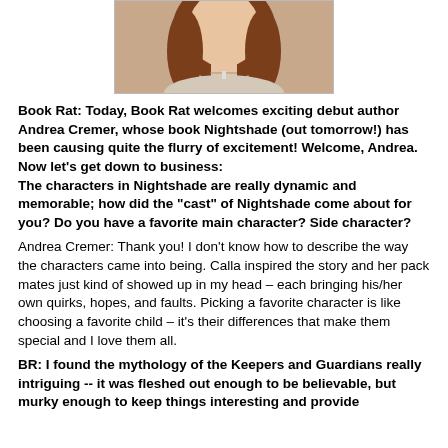[Figure (photo): Cropped photo of a young woman with long reddish-brown hair, wearing a necklace, partial view of face and upper body]
Book Rat: Today, Book Rat welcomes exciting debut author Andrea Cremer, whose book Nightshade (out tomorrow!) has been causing quite the flurry of excitement!  Welcome, Andrea.  Now let's get down to business:
The characters in Nightshade are really dynamic and memorable; how did the "cast" of Nightshade come about for you?  Do you have a favorite main character?  Side character?
Andrea Cremer: Thank you! I don't know how to describe the way the characters came into being. Calla inspired the story and her pack mates just kind of showed up in my head – each bringing his/her own quirks, hopes, and faults. Picking a favorite character is like choosing a favorite child – it's their differences that make them special and I love them all.
BR: I found the mythology of the Keepers and Guardians really intriguing -- it was fleshed out enough to be believable, but murky enough to keep things interesting and provide